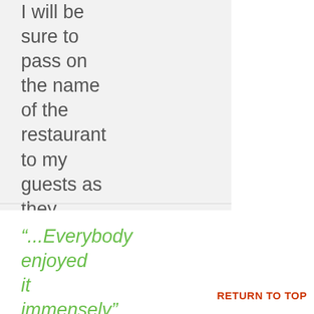I will be sure to pass on the name of the restaurant to my guests as they were all asking!
A.S.
“...Everybody enjoyed it immensely”
RETURN TO TOP